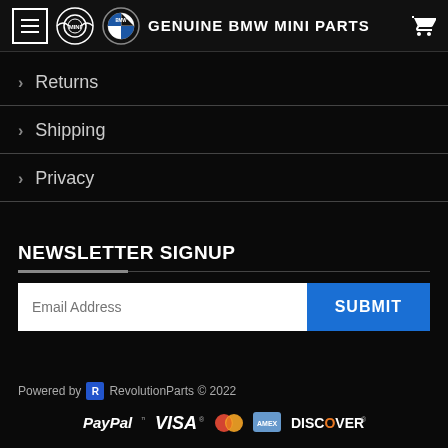GENUINE BMW MINI PARTS
Returns
Shipping
Privacy
NEWSLETTER SIGNUP
Email Address
SUBMIT
Powered by RevolutionParts © 2022
[Figure (logo): PayPal, VISA, MasterCard, American Express, and Discover payment logos]